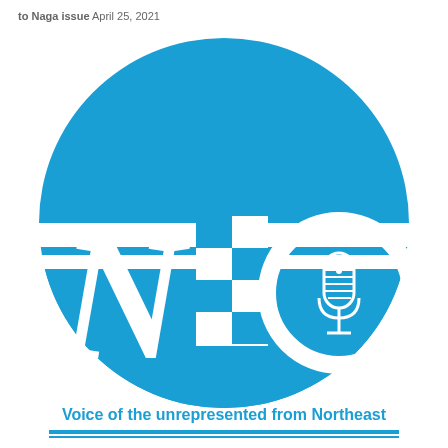to Naga issue April 25, 2021
[Figure (logo): NEO logo — large blue circle with white horizontal bands, letters N, E, O in white serif/italic style on blue background, vintage microphone inside the O letter, text 'Voice of the unrepresented from Northeast' below in blue, two blue horizontal lines at bottom]